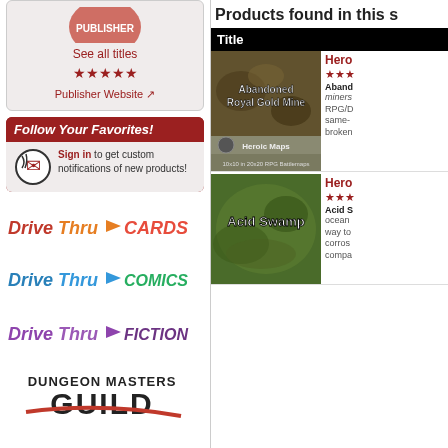See all titles
★★★★★
Publisher Website
Follow Your Favorites!
Sign in to get custom notifications of new products!
[Figure (logo): DriveThruCards logo - orange text]
[Figure (logo): DriveThruComics logo - blue text]
[Figure (logo): DriveThruFiction logo - purple text]
[Figure (logo): Dungeon Masters Guild logo]
Products found in this s
| Title |
| --- |
| Abandoned Royal Gold Mine - Heroic Maps | Acid Swamp - Heroic Maps |
[Figure (photo): Abandoned Royal Gold Mine product image]
Heroic Maps
★★★
Abandoned... miners RPG/D same- broken
[Figure (photo): Heroic Maps logo badge]
10x10 in 20x20 RPG Battlemaps
[Figure (photo): Acid Swamp product image]
Heroic Maps
★★★
Acid S ocean... way to corros compa